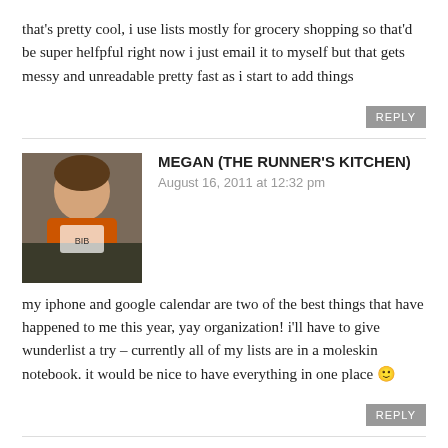that's pretty cool, i use lists mostly for grocery shopping so that'd be super helfpful right now i just email it to myself but that gets messy and unreadable pretty fast as i start to add things
REPLY
[Figure (photo): Profile photo of Megan, a runner in an orange top]
MEGAN (THE RUNNER'S KITCHEN)
August 16, 2011 at 12:32 pm
my iphone and google calendar are two of the best things that have happened to me this year, yay organization! i'll have to give wunderlist a try – currently all of my lists are in a moleskin notebook. it would be nice to have everything in one place 🙂
REPLY
[Figure (illustration): Generic gray avatar silhouette placeholder for Jesse]
JESSE
August 16, 2011 at 3:07 pm